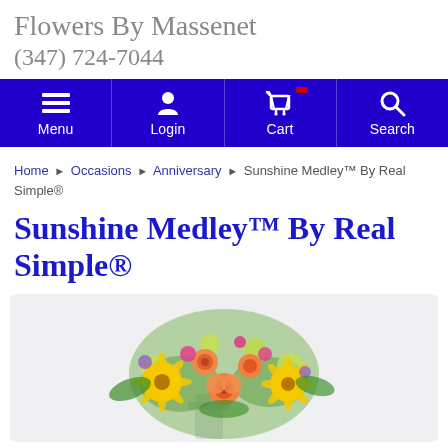Flowers By Massenet
(347) 724-7044
[Figure (screenshot): Blue navigation bar with Menu, Login, Cart, and Search icons in white on a dark blue/purple background]
Home ▸ Occasions ▸ Anniversary ▸ Sunshine Medley™ By Real Simple®
Sunshine Medley™ By Real Simple®
[Figure (photo): A colorful flower bouquet featuring yellow gerbera daisies, orange roses, pink flowers, and green foliage in a glass vase on a light background]